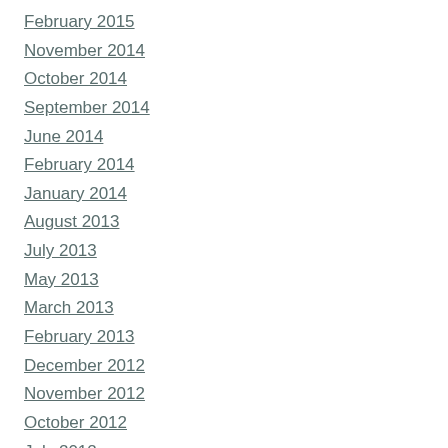February 2015
November 2014
October 2014
September 2014
June 2014
February 2014
January 2014
August 2013
July 2013
May 2013
March 2013
February 2013
December 2012
November 2012
October 2012
July 2012
June 2012
May 2012
April 2012